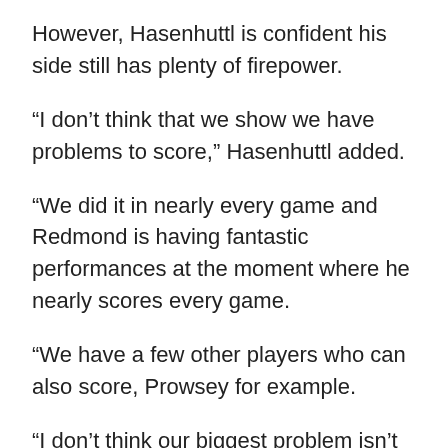However, Hasenhuttl is confident his side still has plenty of firepower.
“I don’t think that we show we have problems to score,” Hasenhuttl added.
“We did it in nearly every game and Redmond is having fantastic performances at the moment where he nearly scores every game.
“We have a few other players who can also score, Prowsey for example.
“I don’t think our biggest problem isn’t being able to score, we should be focused on having more clean sheets in the future.
“We showed in the last games we can always score